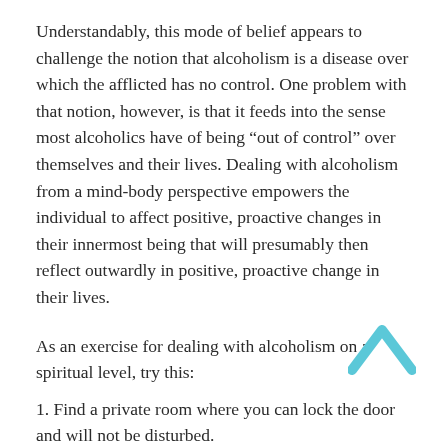Understandably, this mode of belief appears to challenge the notion that alcoholism is a disease over which the afflicted has no control. One problem with that notion, however, is that it feeds into the sense most alcoholics have of being “out of control” over themselves and their lives. Dealing with alcoholism from a mind-body perspective empowers the individual to affect positive, proactive changes in their innermost being that will presumably then reflect outwardly in positive, proactive change in their lives.
As an exercise for dealing with alcoholism on a spiritual level, try this:
[Figure (other): Light blue upward-pointing chevron arrow icon]
1. Find a private room where you can lock the door and will not be disturbed.